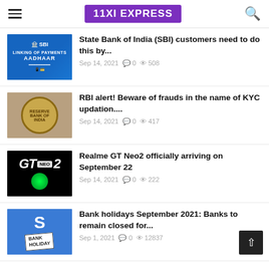11XI EXPRESS
State Bank of India (SBI) customers need to do this by... — Sep 14, 2021 — 0 comments — 508 views
RBI alert! Beware of frauds in the name of KYC updation.... — Sep 14, 2021 — 0 comments — 417 views
Realme GT Neo2 officially arriving on September 22 — Sep 14, 2021 — 0 comments — 222 views
Bank holidays September 2021: Banks to remain closed for... — Sep 1, 2021 — 0 comments — 12837 views